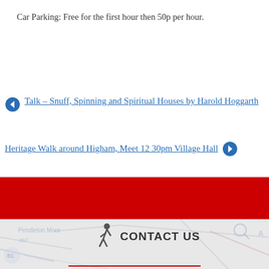Car Parking: Free for the first hour then 50p per hour.
← Talk – Snuff, Spinning and Spiritual Houses by Harold Hoggarth
Heritage Walk around Higham, Meet 12 30pm Village Hall →
[Figure (other): Red banner divider]
[Figure (map): Map background showing Pendleton Moor area with CONTACT US label and figure icon]